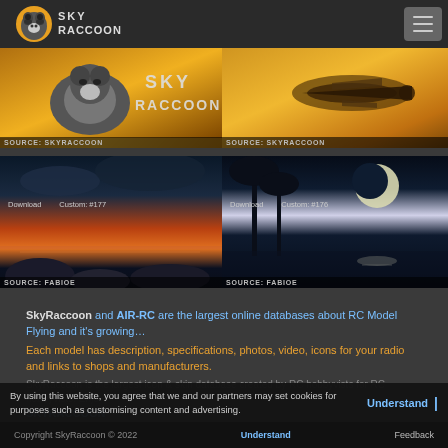SkyRaccoon
[Figure (screenshot): Top-left banner image: SkyRaccoon cartoon mascot on orange/gold background. SOURCE: SKYRACCOON]
[Figure (screenshot): Top-right banner image: RC plane silhouette on orange/gold background. SOURCE: SKYRACCOON]
[Figure (photo): Bottom-left photo: Dramatic seascape with rocks and sunset sky. Download / Custom #177. SOURCE: FABIOE]
[Figure (photo): Bottom-right photo: Tropical night scene with moon reflection on water. Download / Custom #176. SOURCE: FABIOE]
SkyRaccoon and AIR-RC are the largest online databases about RC Model Flying and it's growing... Each model has description, specifications, photos, video, icons for your radio and links to shops and manufacturers. SkyRaccoon is the largest icon & skin database created by RC hobbyvists for RC hobbyvists. Enjoy! SKYRACCOON
By using this website, you agree that we and our partners may set cookies for purposes such as customising content and advertising.
Copyright SkyRaccoon © 2022    Understand    Feedback